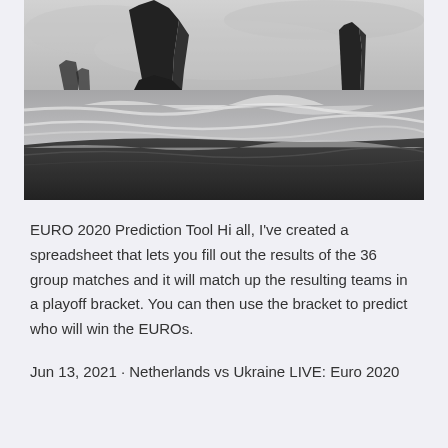[Figure (photo): Black and white photograph of a black sand beach with dramatic rock stacks (sea stacks) rising from the ocean. Waves crash against the rocks and the dark sandy shore is visible in the foreground. The sky is overcast and pale.]
EURO 2020 Prediction Tool Hi all, I've created a spreadsheet that lets you fill out the results of the 36 group matches and it will match up the resulting teams in a playoff bracket. You can then use the bracket to predict who will win the EUROs.
Jun 13, 2021 · Netherlands vs Ukraine LIVE: Euro 2020